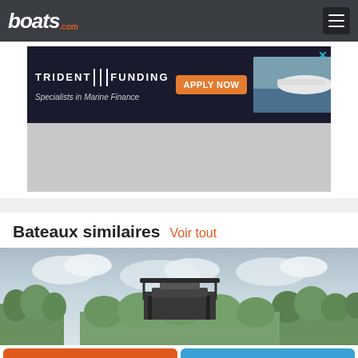boats.com
[Figure (screenshot): Trident Funding advertisement banner: dark background with Trident Funding logo, 'Specialists in Marine Finance' tagline, orange 'APPLY NOW' button, and boat image on right.]
[Figure (photo): Gray placeholder area below advertisement]
Bateaux similaires  Voir tout
[Figure (photo): Boat photograph showing a vessel against a cloudy sky with trees in the background]
Contacter
Appeler